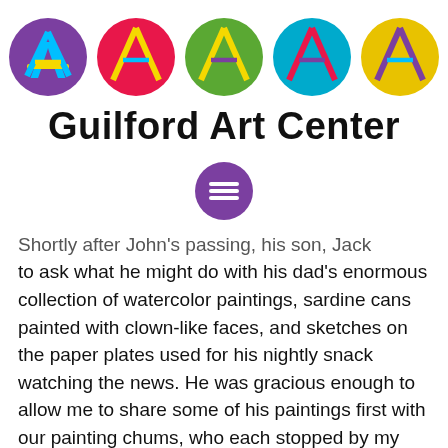[Figure (logo): Five colorful letter A logos in circles: purple, red, green, teal/blue, and yellow-gold]
Guilford Art Center
[Figure (other): Purple circle with hamburger menu icon (three horizontal white lines)]
Shortly after John's passing, his son, Jack contacted me to ask what he might do with his dad's enormous collection of watercolor paintings, sardine cans painted with clown-like faces, and sketches on the paper plates used for his nightly snack watching the news. He was gracious enough to allow me to share some of his paintings first with our painting chums, who each stopped by my house to sort through the art while